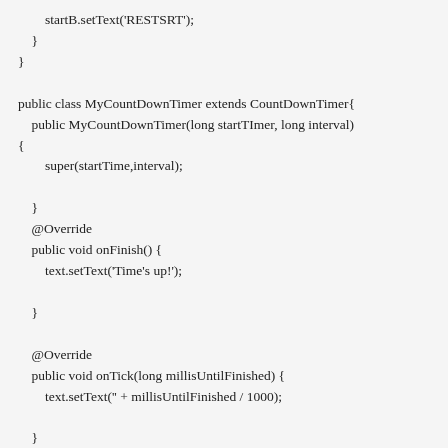startB.setText('RESTSRT');
    }
}

public class MyCountDownTimer extends CountDownTimer{
    public MyCountDownTimer(long startTImer, long interval)
{
        super(startTime,interval);

    }
    @Override
    public void onFinish() {
        text.setText('Time's up!');

    }

    @Override
    public void onTick(long millisUntilFinished) {
        text.setText('' + millisUntilFinished / 1000);

    }

}

@Override